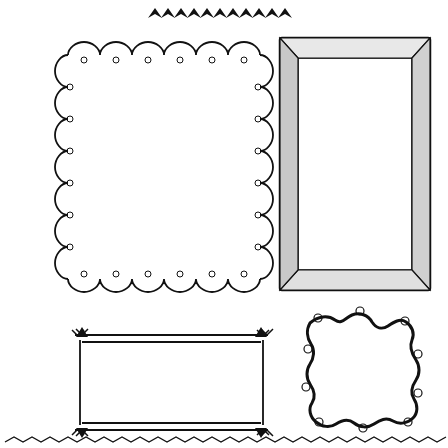[Figure (illustration): Collection of decorative hand-drawn frames and borders on white background. Top: a zigzag/arrow border strip. Middle-left: scalloped lace-style square frame with small circles. Middle-right: 3D perspective square frame with thick beveled edges. Bottom-left: double-line square frame with arrow/chevron corners. Bottom-right: organic wavy square frame with small loop embellishments at corners and midpoints. Bottom edge: continuous zigzag/wave border strip.]